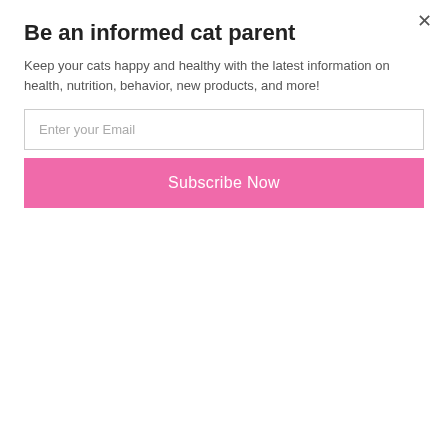Be an informed cat parent
Keep your cats happy and healthy with the latest information on health, nutrition, behavior, new products, and more!
Enter your Email
Subscribe Now
Lyons to The Conscious Cat today. (And yes, there is a cat connection – read on!)
[Figure (photo): Headshot of CJ Lyons, a woman in a white coat with a stethoscope, smiling, with green foliage in the background.]
CJ Lyons has lived most of her life on the edge. Trained in Pediatric Emergency Medicine, she has assisted police and prosecutors with cases involving child abuse, rape, homicide and Munchausen by